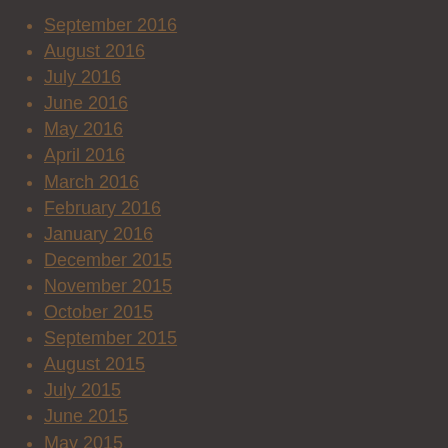September 2016
August 2016
July 2016
June 2016
May 2016
April 2016
March 2016
February 2016
January 2016
December 2015
November 2015
October 2015
September 2015
August 2015
July 2015
June 2015
May 2015
April 2015
March 2015